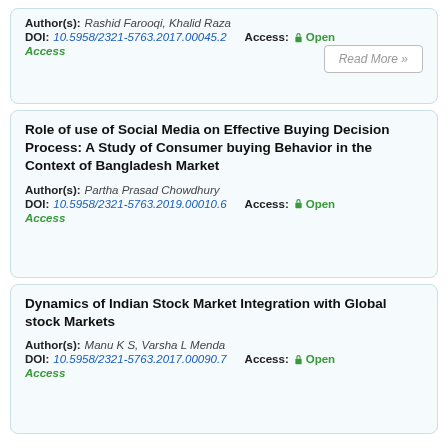Author(s): Rashid Farooqi, Khalid Raza
DOI: 10.5958/2321-5763.2017.00045.2  Access: Open Access
Read More »
Role of use of Social Media on Effective Buying Decision Process: A Study of Consumer buying Behavior in the Context of Bangladesh Market
Author(s): Partha Prasad Chowdhury
DOI: 10.5958/2321-5763.2019.00010.6  Access: Open Access
Read More »
Dynamics of Indian Stock Market Integration with Global stock Markets
Author(s): Manu K S, Varsha L Menda
DOI: 10.5958/2321-5763.2017.00090.7  Access: Open Access
Read More »